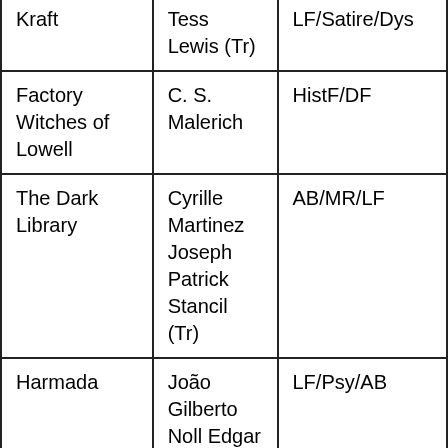| Title | Author/Translator | Genre |
| --- | --- | --- |
| Kraft | Tess Lewis (Tr) | LF/Satire/Dys |
| Factory Witches of Lowell | C. S. Malerich | HistF/DF |
| The Dark Library | Cyrille Martinez
Joseph Patrick Stancil (Tr) | AB/MR/LF |
| Harmada | João Gilberto Noll
Edgar Garbelotto (Tr) | LF/Psy/AB |
| Queen of the North | Anne O'Brien | Hist/HistR/CoA/AH |